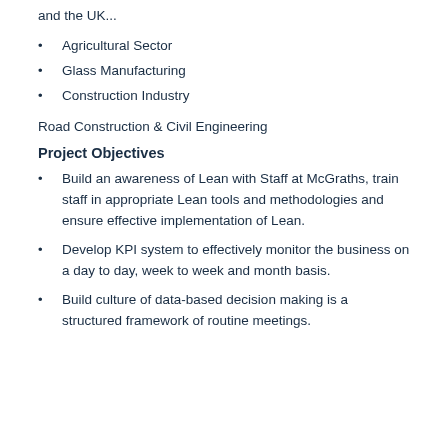and the UK...
Agricultural Sector
Glass Manufacturing
Construction Industry
Road Construction & Civil Engineering
Project Objectives
Build an awareness of Lean with Staff at McGraths, train staff in appropriate Lean tools and methodologies and ensure effective implementation of Lean.
Develop KPI system to effectively monitor the business on a day to day, week to week and month basis.
Build culture of data-based decision making is a structured framework of routine meetings.